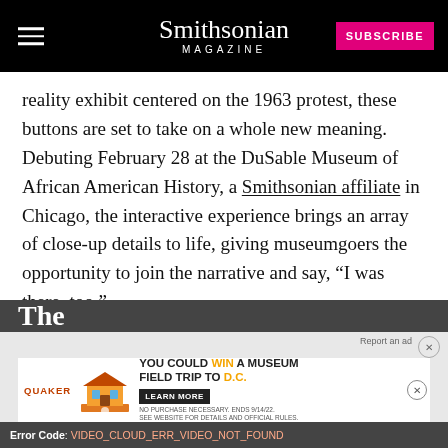Smithsonian MAGAZINE
reality exhibit centered on the 1963 protest, these buttons are set to take on a whole new meaning. Debuting February 28 at the DuSable Museum of African American History, a Smithsonian affiliate in Chicago, the interactive experience brings an array of close-up details to life, giving museumgoers the opportunity to join the narrative and say, “I was there, too.”
[Figure (screenshot): Advertisement banner: Quaker Museum Day promotion - YOU COULD WIN A MUSEUM FIELD TRIP TO D.C. with LEARN MORE button and fine print.]
Error Code: VIDEO_CLOUD_ERR_VIDEO_NOT_FOUND